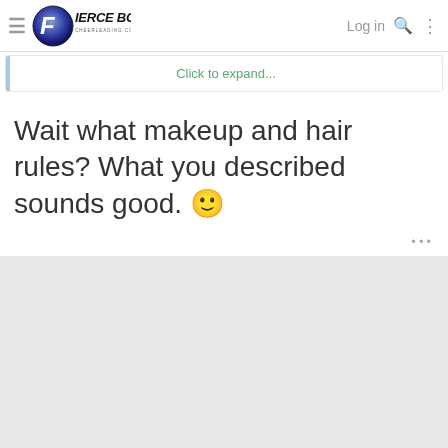FierceBoard Cheerleading Community — Log in
Click to expand...
Wait what makeup and hair rules? What you described sounds good. 🙂